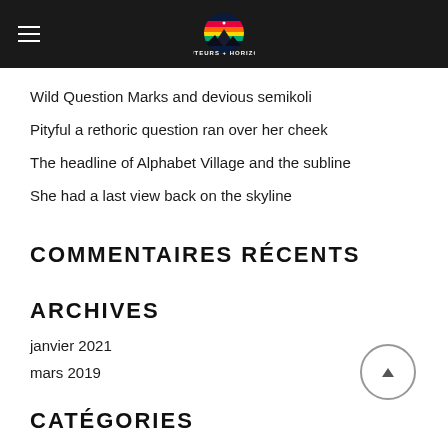[Figure (logo): Hauteurs + Horizons logo: circular emblem with mountain silhouette and colorful sky, white text below reading HAUTEURS + HORIZONS, on dark background with hamburger menu icon on the left]
Wild Question Marks and devious semikoli
Pityful a rethoric question ran over her cheek
The headline of Alphabet Village and the subline
She had a last view back on the skyline
COMMENTAIRES RÉCENTS
ARCHIVES
janvier 2021
mars 2019
CATÉGORIES